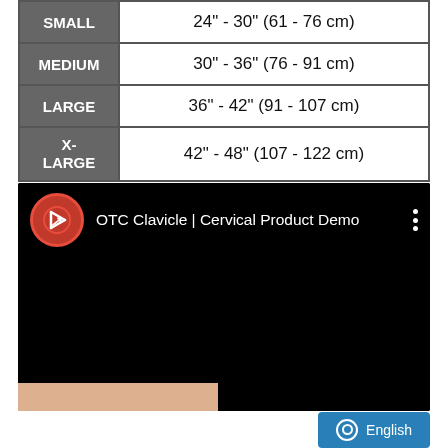| Size | Measurement |
| --- | --- |
| SMALL | 24" - 30" (61 - 76 cm) |
| MEDIUM | 30" - 36" (76 - 91 cm) |
| LARGE | 36" - 42" (91 - 107 cm) |
| X-LARGE | 42" - 48" (107 - 122 cm) |
[Figure (screenshot): Video thumbnail for 'OTC Clavicle | Cervical Product Demo' showing a YouTube-style player with a red circular logo on black background]
[Figure (photo): Partial photo of a person wearing a medical device at the bottom of the page]